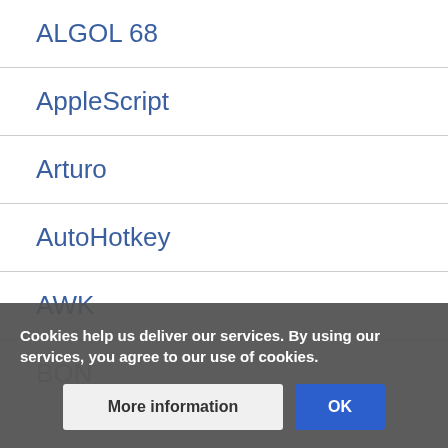ALGOL 68
AppleScript
Arturo
AutoHotkey
AWK
BON
Cookies help us deliver our services. By using our services, you agree to our use of cookies.
More information
OK